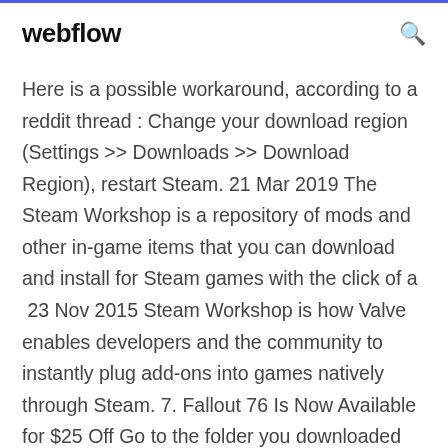webflow
Here is a possible workaround, according to a reddit thread : Change your download region (Settings >> Downloads >> Download Region), restart Steam. 21 Mar 2019 The Steam Workshop is a repository of mods and other in-game items that you can download and install for Steam games with the click of a  23 Nov 2015 Steam Workshop is how Valve enables developers and the community to instantly plug add-ons into games natively through Steam. 7. Fallout 76 Is Now Available for $25 Off Go to the folder you downloaded the mods to. 7 Jan 2020 No wonder there's been over one billion mod downloads between Skyrim and